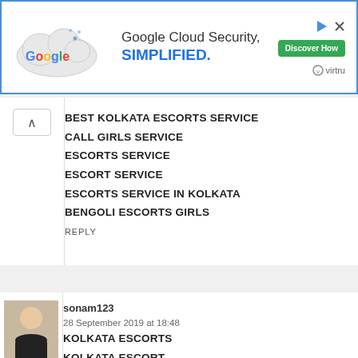[Figure (screenshot): Google Cloud Security advertisement banner with Google logo in cloud shape, text 'Google Cloud Security, SIMPLIFIED.' and green 'Discover How' button, virtru logo bottom right]
BEST KOLKATA ESCORTS SERVICE
CALL GIRLS SERVICE
ESCORTS SERVICE
ESCORT SERVICE
ESCORTS SERVICE IN KOLKATA
BENGOLI ESCORTS GIRLS
REPLY
sonam123
28 September 2019 at 18:48
KOLKATA ESCORTS
KOLKATA ESCORT
ESCORTS SERVICE IN KOLKATA
ESCORT SERVICE KOLKATA
ESCORTS SERVICE
ESCORT SERVICE